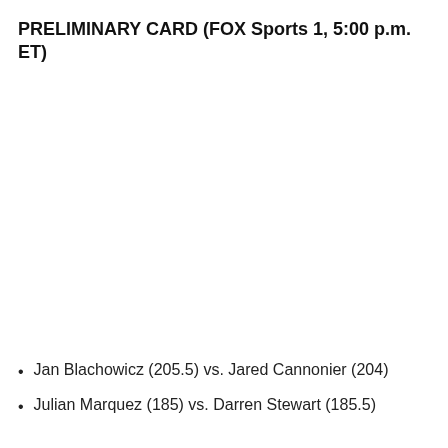PRELIMINARY CARD (FOX Sports 1, 5:00 p.m. ET)
Jan Blachowicz (205.5) vs. Jared Cannonier (204)
Julian Marquez (185) vs. Darren Stewart (185.5)